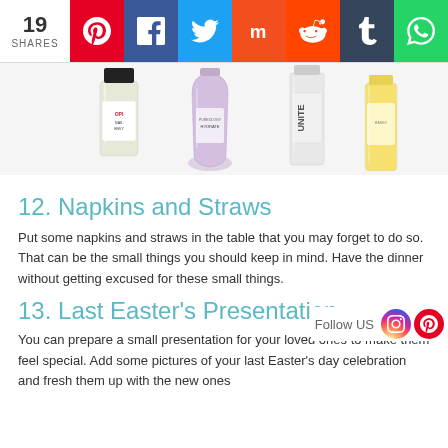19 SHARES [Pinterest, Facebook, Twitter, Mix, Reddit, Tumblr, WhatsApp]
[Figure (photo): Four beauty/hair product bottles arranged in a row: OPI Nail Envy, Pureology Hydrate Lotion, Unite haircare bottle, and a yellow bottle of hair treatment]
12. Napkins and Straws
Put some napkins and straws in the table that you may forget to do so. That can be the small things you should keep in mind. Have the dinner without getting excused for these small things.
13. Last Easter’s Presentation
You can prepare a small presentation for your loved ones to make them feel special. Add some pictures of your last Easter’s day celebration and fresh them up with the new ones